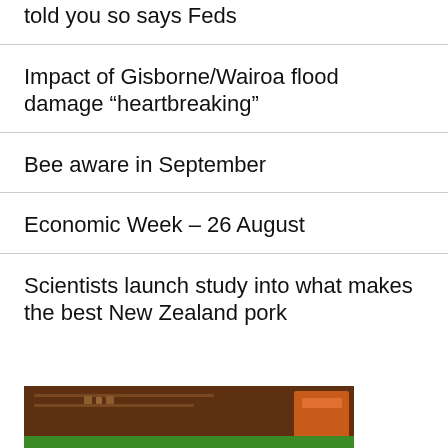told you so says Feds
Impact of Gisborne/Wairoa flood damage “heartbreaking”
Bee aware in September
Economic Week – 26 August
Scientists launch study into what makes the best New Zealand pork
[Figure (photo): A photo showing what appears to be a kitchen or food preparation area with dark brown cabinetry and an orange/red object visible on the right side, with a green surface at the bottom.]